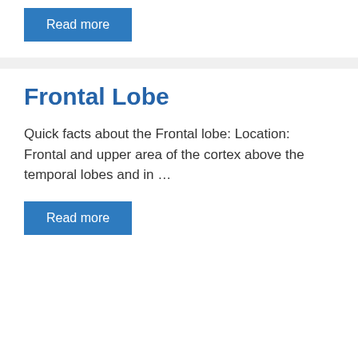[Figure (other): Blue 'Read more' button at top of page]
Frontal Lobe
Quick facts about the Frontal lobe: Location: Frontal and upper area of the cortex above the temporal lobes and in …
[Figure (other): Blue 'Read more' button at bottom of page]